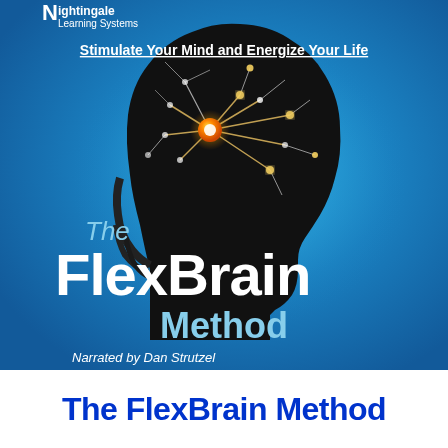[Figure (illustration): Book/audio cover art for 'The FlexBrain Method' by Nightingale Learning Systems. Blue background with black silhouette of a human head in profile, neural network pattern with glowing orange node inside the head. Text overlay: 'Stimulate Your Mind and Energize Your Life', 'The FlexBrain Method', 'Narrated by Dan Strutzel']
The FlexBrain Method